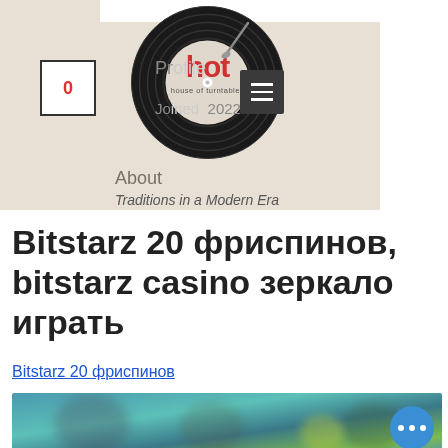[Figure (logo): HOT house of turntables logo — black vinyl record circle with red HOT text and white center label]
Pr...
Joined ... 2022
About
Traditions in a Modern Era
Bitstarz 20 фриспинов, bitstarz casino зеркало играть
Bitstarz 20 фриспинов
[Figure (photo): Blurred image of people, teal/green background with floating action button showing three dots]